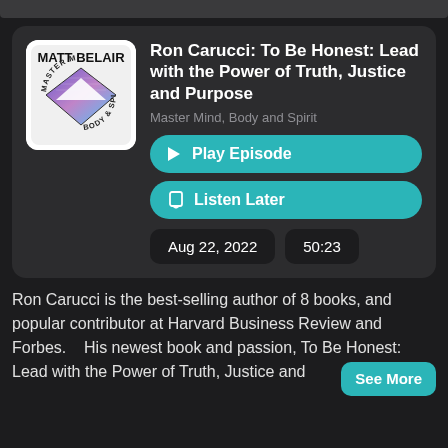[Figure (logo): Matt Belair Master Mind Body and Spirit podcast logo — white rounded square with geometric diamond/prism design and text around edges]
Ron Carucci: To Be Honest: Lead with the Power of Truth, Justice and Purpose
Master Mind, Body and Spirit
▶ Play Episode
🔖 Listen Later
Aug 22, 2022
50:23
Ron Carucci is the best-selling author of 8 books, and popular contributor at Harvard Business Review and Forbes.    His newest book and passion, To Be Honest: Lead with the Power of Truth, Justice and
See More